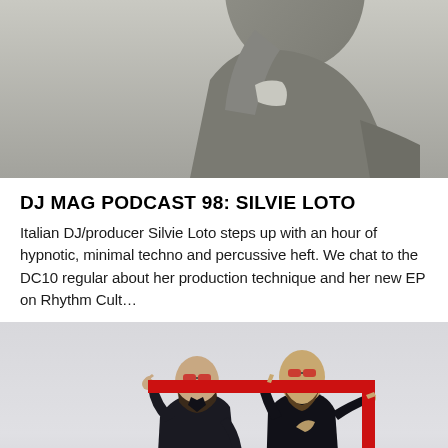[Figure (photo): Top portion of a person in a grey hoodie shown in profile/side view against a light background, cropped at the top of the page]
DJ MAG PODCAST 98: SILVIE LOTO
Italian DJ/producer Silvie Loto steps up with an hour of hypnotic, minimal techno and percussive heft. We chat to the DC10 regular about her production technique and her new EP on Rhythm Cult…
[Figure (photo): Two men standing against a light background holding a red rectangular frame/bar above their heads. Left man wears dark shirt and dark pants, right man wears black sleeveless top and dark pants. Both wear red-tinted sunglasses.]